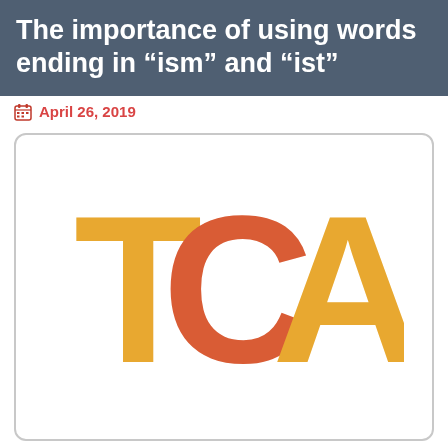The importance of using words ending in “ism” and “ist”
April 26, 2019
[Figure (logo): TCA logo with letters T and A in golden/yellow color and C in orange-red color, displayed large in a white rounded rectangle box]
CLICK BELOW TO SHARE